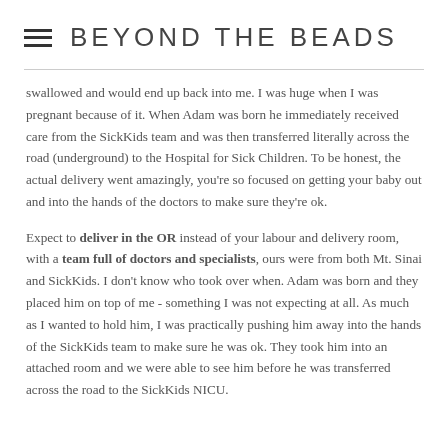BEYOND THE BEADS
swallowed and would end up back into me. I was huge when I was pregnant because of it. When Adam was born he immediately received care from the SickKids team and was then transferred literally across the road (underground) to the Hospital for Sick Children. To be honest, the actual delivery went amazingly, you're so focused on getting your baby out and into the hands of the doctors to make sure they're ok.
Expect to deliver in the OR instead of your labour and delivery room, with a team full of doctors and specialists, ours were from both Mt. Sinai and SickKids. I don't know who took over when. Adam was born and they placed him on top of me - something I was not expecting at all. As much as I wanted to hold him, I was practically pushing him away into the hands of the SickKids team to make sure he was ok. They took him into an attached room and we were able to see him before he was transferred across the road to the SickKids NICU.